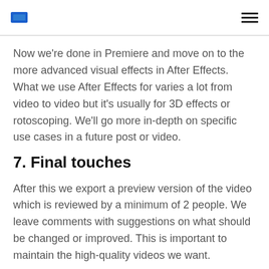Now we're done in Premiere and move on to the more advanced visual effects in After Effects. What we use After Effects for varies a lot from video to video but it's usually for 3D effects or rotoscoping. We'll go more in-depth on specific use cases in a future post or video.
7. Final touches
After this we export a preview version of the video which is reviewed by a minimum of 2 people. We leave comments with suggestions on what should be changed or improved. This is important to maintain the high-quality videos we want.
After changes are made we render out the final video